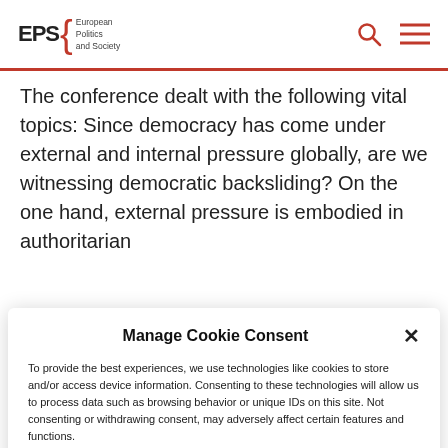EPS European Politics and Society
The conference dealt with the following vital topics: Since democracy has come under external and internal pressure globally, are we witnessing democratic backsliding? On the one hand, external pressure is embodied in authoritarian
Manage Cookie Consent
To provide the best experiences, we use technologies like cookies to store and/or access device information. Consenting to these technologies will allow us to process data such as browsing behavior or unique IDs on this site. Not consenting or withdrawing consent, may adversely affect certain features and functions.
Accept